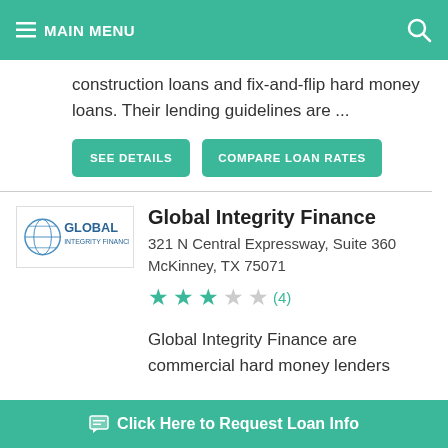MAIN MENU
construction loans and fix-and-flip hard money loans. Their lending guidelines are ...
SEE DETAILS | COMPARE LOAN RATES
[Figure (logo): Global Integrity Finance company logo with globe icon]
Global Integrity Finance
321 N Central Expressway, Suite 360
McKinney, TX 75071
★★★☆☆ (4)
Global Integrity Finance are commercial hard money lenders
Click Here to Request Loan Info